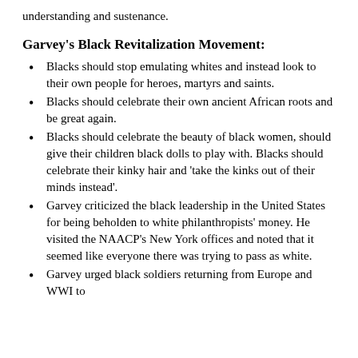understanding and sustenance.
Garvey's Black Revitalization Movement:
Blacks should stop emulating whites and instead look to their own people for heroes, martyrs and saints.
Blacks should celebrate their own ancient African roots and be great again.
Blacks should celebrate the beauty of black women, should give their children black dolls to play with. Blacks should celebrate their kinky hair and 'take the kinks out of their minds instead'.
Garvey criticized the black leadership in the United States for being beholden to white philanthropists' money. He visited the NAACP's New York offices and noted that it seemed like everyone there was trying to pass as white.
Garvey urged black soldiers returning from Europe and WWI to